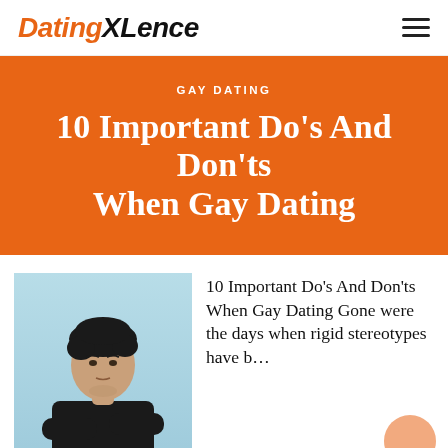DatingXLence
GAY DATING
10 Important Do’s And Don’ts When Gay Dating
[Figure (photo): Young man with dark hair wearing black clothing, arms crossed, light blue background]
10 Important Do’s And Don’ts When Gay Dating Gone were the days when rigid stereotypes have b...